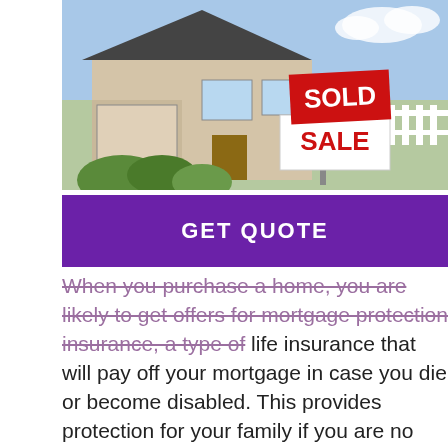[Figure (photo): Photo of a house with a red SOLD SALE sign in front, brick exterior with white fence and greenery]
[Figure (other): Purple banner button with text GET QUOTE]
When you purchase a home, you are likely to get offers for mortgage protection insurance, a type of life insurance that will pay off your mortgage in case you die or become disabled. This provides protection for your family if you are no longer there or no longer able to work to pay the mortgage. If you die, with some policies, the proceeds go directly to your lender to pay off the balance on your mortgage in full. Your family will still have a place to